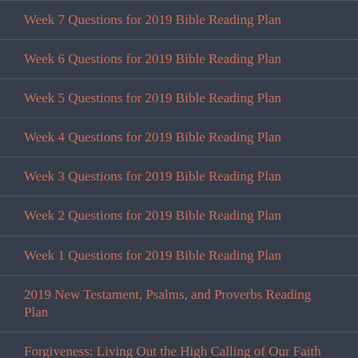Week 7 Questions for 2019 Bible Reading Plan
Week 6 Questions for 2019 Bible Reading Plan
Week 5 Questions for 2019 Bible Reading Plan
Week 4 Questions for 2019 Bible Reading Plan
Week 3 Questions for 2019 Bible Reading Plan
Week 2 Questions for 2019 Bible Reading Plan
Week 1 Questions for 2019 Bible Reading Plan
2019 New Testament, Psalms, and Proverbs Reading Plan
Forgiveness: Living Out the High Calling of Our Faith
Rahab's Persevering Faith
Rahab's Outreaching Faith